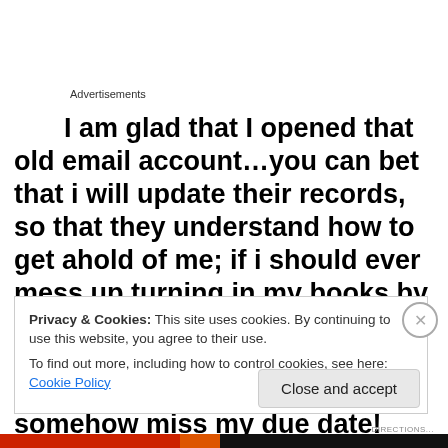Advertisements
I am glad that I opened that old email account…you can bet that i will update their records, so that they understand how to get ahold of me; if i should ever mess up turning in my books by the time they are due again…i try not to let that happen…but, i sure want to know about it; if i somehow miss my due date! Love your library, treat them with respect, and
Privacy & Cookies: This site uses cookies. By continuing to use this website, you agree to their use.
To find out more, including how to control cookies, see here: Cookie Policy
Close and accept